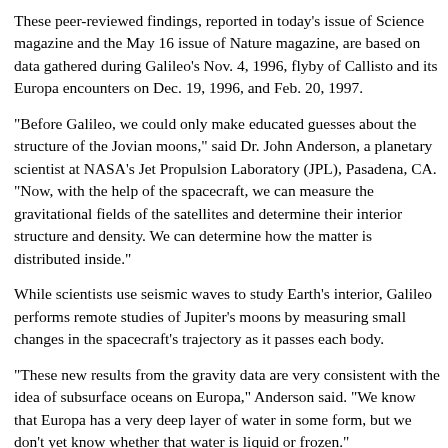These peer-reviewed findings, reported in today's issue of Science magazine and the May 16 issue of Nature magazine, are based on data gathered during Galileo's Nov. 4, 1996, flyby of Callisto and its Europa encounters on Dec. 19, 1996, and Feb. 20, 1997.
"Before Galileo, we could only make educated guesses about the structure of the Jovian moons," said Dr. John Anderson, a planetary scientist at NASA's Jet Propulsion Laboratory (JPL), Pasadena, CA. "Now, with the help of the spacecraft, we can measure the gravitational fields of the satellites and determine their interior structure and density. We can determine how the matter is distributed inside."
While scientists use seismic waves to study Earth's interior, Galileo performs remote studies of Jupiter's moons by measuring small changes in the spacecraft's trajectory as it passes each body.
"These new results from the gravity data are very consistent with the idea of subsurface oceans on Europa," Anderson said. "We know that Europa has a very deep layer of water in some form, but we don't yet know whether that water is liquid or frozen."
In an article appearing in the May 23 edition of Science, Dr. Margaret Kivelson, principal investigator for Galileo's magnetometer, reports that during its December 1996 pass by